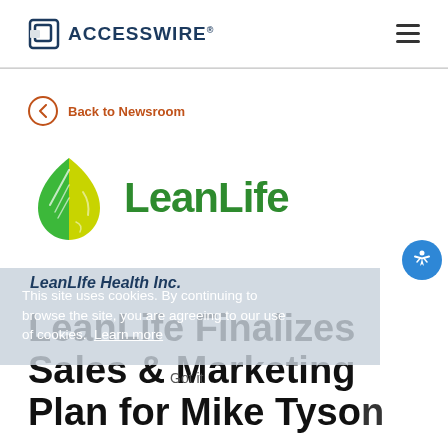ACCESSWIRE
Back to Newsroom
[Figure (logo): LeanLife Health Inc. logo — green and yellow leaf droplet icon with green LeanLife wordmark]
LeanLIfe Health Inc.
This site uses cookies. By continuing to browse the site, you are agreeing to our use of cookies. Learn more
LeanLife Finalizes Sales & Marketing Plan for Mike Tyson